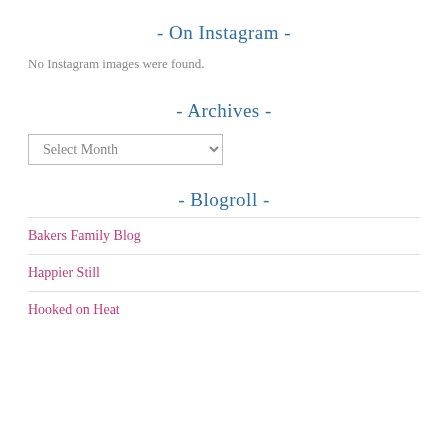- On Instagram -
No Instagram images were found.
- Archives -
Select Month
- Blogroll -
Bakers Family Blog
Happier Still
Hooked on Heat